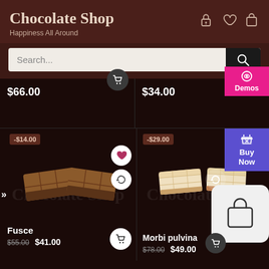Chocolate Shop
Happiness All Around
Search...
$66.00
$34.00
Demos
-$14.00
-$29.00
Buy Now
Fusce
$55.00  $41.00
Morbi pulvina
$78.00  $49.00